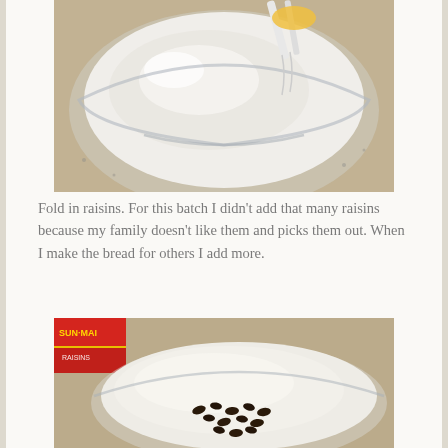[Figure (photo): Close-up photo of a glass bowl with white batter being mixed, a whisk visible at the top, on a granite countertop]
Fold in raisins. For this batch I didn't add that many raisins because my family doesn't like them and picks them out. When I make the bread for others I add more.
[Figure (photo): Photo of a glass bowl with white batter and a small number of raisins scattered on top, with a Sun-Maid raisins box visible in the background on a granite countertop]